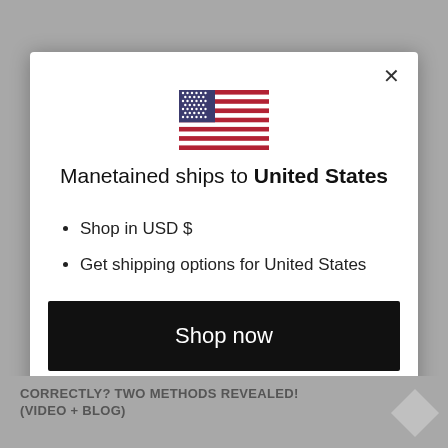[Figure (illustration): US flag SVG illustration centered at top of modal]
Manetained ships to United States
Shop in USD $
Get shipping options for United States
Shop now
Change shipping country
CORRECTLY? TWO METHODS REVEALED! (VIDEO + BLOG)